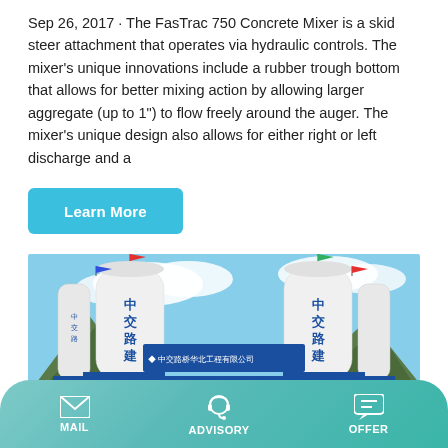Sep 26, 2017 · The FasTrac 750 Concrete Mixer is a skid steer attachment that operates via hydraulic controls. The mixer's unique innovations include a rubber trough bottom that allows for better mixing action by allowing larger aggregate (up to 1") to flow freely around the auger. The mixer's unique design also allows for either right or left discharge and a
Learn More
[Figure (photo): Industrial concrete mixing plant with two large white silos marked with Chinese characters 中交路建 (CCCC Road Construction), a blue banner sign reading 中交路桥华北工程有限公司 and 3号拌合站 (Mixing Station No.3), with yellow structural supports and blue base structures, mountains and blue sky in background.]
MAIL  ADVISORY  OFFER